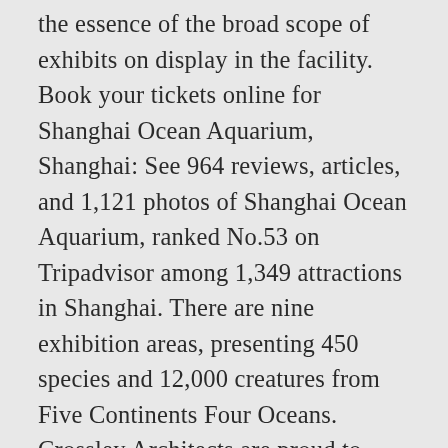the essence of the broad scope of exhibits on display in the facility. Book your tickets online for Shanghai Ocean Aquarium, Shanghai: See 964 reviews, articles, and 1,121 photos of Shanghai Ocean Aquarium, ranked No.53 on Tripadvisor among 1,349 attractions in Shanghai. There are nine exhibition areas, presenting 450 species and 12,000 creatures from Five Continents Four Oceans. Crossley Architects are proud to have been involved with Shanghai Ocean Aquarium through their architectural consultancy services to Living Ocean International. Pty Ltd 2020 | Website by Nina Hansen Design Happy Valley Shanghai Theme Park are! Square feet ) in Pudong District shanghai ocean aquarium floor plans